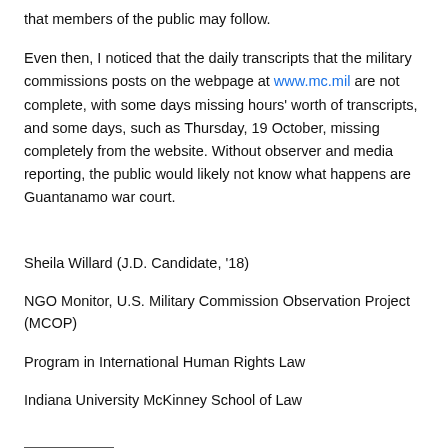that members of the public may follow.
Even then, I noticed that the daily transcripts that the military commissions posts on the webpage at www.mc.mil are not complete, with some days missing hours' worth of transcripts, and some days, such as Thursday, 19 October, missing completely from the website. Without observer and media reporting, the public would likely not know what happens are Guantanamo war court.
Sheila Willard (J.D. Candidate, '18)
NGO Monitor, U.S. Military Commission Observation Project (MCOP)
Program in International Human Rights Law
Indiana University McKinney School of Law